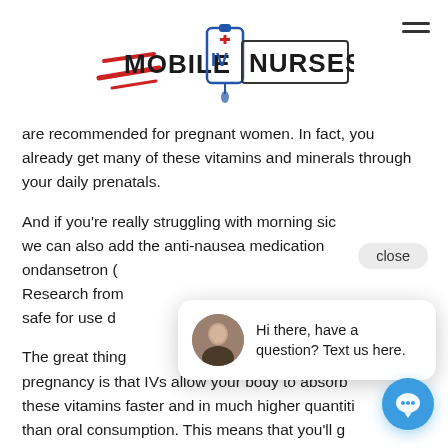[Figure (logo): Mobile IV Nurses logo with IV bag graphic and speed lines]
are recommended for pregnant women. In fact, you already get many of these vitamins and minerals through your daily prenatals.
And if you're really struggling with morning sickness, we can also add the anti-nausea medication ondansetron (a Research from safe for use d
The great thing pregnancy is that IVs allow your body to absorb these vitamins faster and in much higher quantities than oral consumption. This means that you'll get more of the essential vitamins that make for a healthy mom and baby. Plus, you'll get near-instant